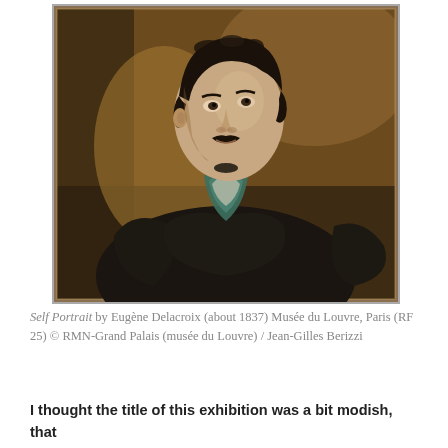[Figure (photo): Self Portrait painting by Eugène Delacroix (about 1837), oil on canvas. Shows a young man with dark curly hair, mustache, wearing a dark coat with a green cravat, against a warm brown background. Musée du Louvre, Paris.]
Self Portrait by Eugène Delacroix (about 1837) Musée du Louvre, Paris (RF 25) © RMN-Grand Palais (musée du Louvre) / Jean-Gilles Berizzi
I thought the title of this exhibition was a bit modish, that the mentions and the formers had been a difficult